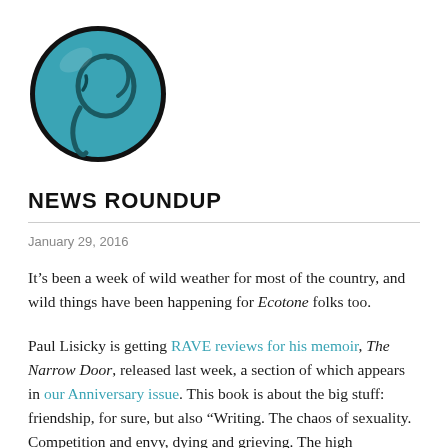[Figure (logo): Circular logo with teal/turquoise background and a rope or lasso design inside, black border circle]
NEWS ROUNDUP
January 29, 2016
It’s been a week of wild weather for most of the country, and wild things have been happening for Ecotone folks too.
Paul Lisicky is getting RAVE reviews for his memoir, The Narrow Door, released last week, a section of which appears in our Anniversary issue. This book is about the big stuff: friendship, for sure, but also “Writing. The chaos of sexuality. Competition and envy, dying and grieving. The high (unrealistic?) expectations we have of those we love, with our